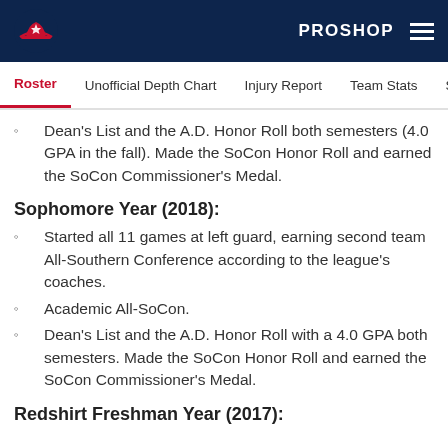PROSHOP
Dean's List and the A.D. Honor Roll both semesters (4.0 GPA in the fall). Made the SoCon Honor Roll and earned the SoCon Commissioner's Medal.
Sophomore Year (2018):
Started all 11 games at left guard, earning second team All-Southern Conference according to the league's coaches.
Academic All-SoCon.
Dean's List and the A.D. Honor Roll with a 4.0 GPA both semesters. Made the SoCon Honor Roll and earned the SoCon Commissioner's Medal.
Redshirt Freshman Year (2017):